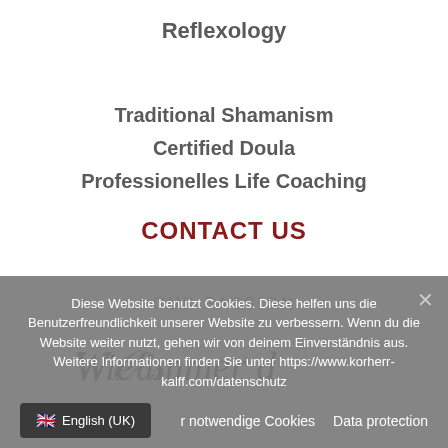Reflexology
Traditional Shamanism
Certified Doula
Professionelles Life Coaching
CONTACT US
OUR PASSION
[Figure (illustration): Partial cursive/script text, partially cropped]
Diese Website benutzt Cookies. Diese helfen uns die Benutzerfreundlichkeit unserer Website zu verbessern. Wenn du die Website weiter nutzt, gehen wir von deinem Einverständnis aus. Weitere Informationen finden Sie unter https://www.korherr-kalff.com/datenschutz
r notwendige Cookies   Data protection
English (UK)